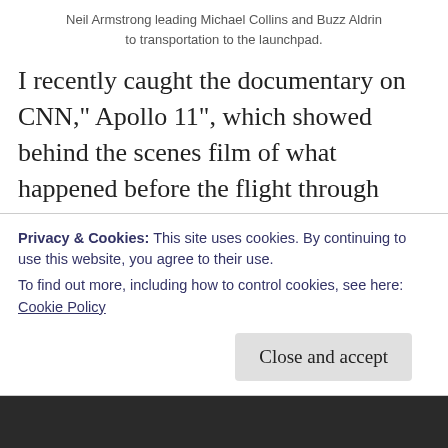Neil Armstrong leading Michael Collins and Buzz Aldrin to transportation to the launchpad.
I recently caught the documentary on CNN," Apollo 11", which showed behind the scenes film of what happened before the flight through when splashdown of the capsule occurred. It was really something to see film of the guys whose voice you recognize from hearing a historical clip of moon communications. It truly was a different day. All male engineers in white shirts with pocket protectors and ninety percent of the control room smoking either cigarettes or cigars. I am sure today's
Privacy & Cookies: This site uses cookies. By continuing to use this website, you agree to their use.
To find out more, including how to control cookies, see here: Cookie Policy
Close and accept